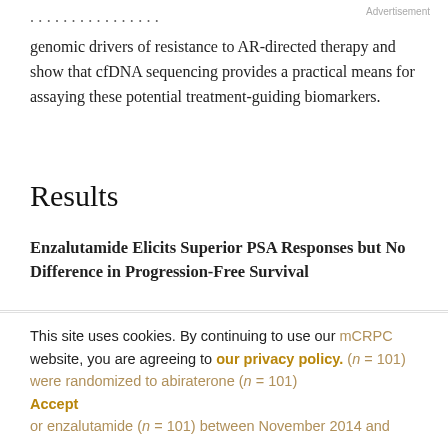Advertisement
genomic drivers of resistance to AR-directed therapy and show that cfDNA sequencing provides a practical means for assaying these potential treatment-guiding biomarkers.
Results
Enzalutamide Elicits Superior PSA Responses but No Difference in Progression-Free Survival
This site uses cookies. By continuing to use our website, you are agreeing to our privacy policy. Accept
mCRPC were randomized to abiraterone (n = 101) or enzalutamide (n = 101) between November 2014 and